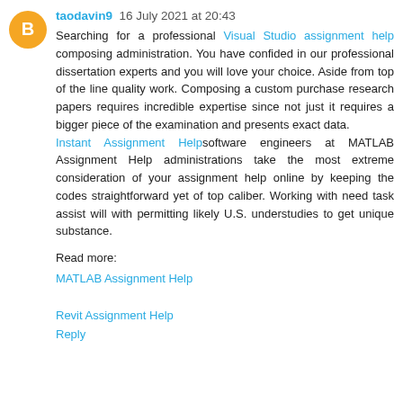[Figure (illustration): Orange circular avatar/icon with letter B for Blogger profile]
taodavin9  16 July 2021 at 20:43
Searching for a professional Visual Studio assignment help composing administration. You have confided in our professional dissertation experts and you will love your choice. Aside from top of the line quality work. Composing a custom purchase research papers requires incredible expertise since not just it requires a bigger piece of the examination and presents exact data. Instant Assignment Helpsoftware engineers at MATLAB Assignment Help administrations take the most extreme consideration of your assignment help online by keeping the codes straightforward yet of top caliber. Working with need task assist will with permitting likely U.S. understudies to get unique substance.
Read more:
MATLAB Assignment Help
Revit Assignment Help
Reply